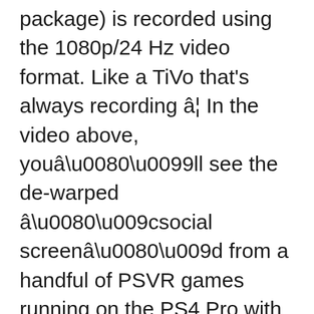package) is recorded using the 1080p/24 Hz video format. Like a TiVo that's always recording â¦ In the video above, youâll see the de-warped âsocial screenâ from a handful of PSVR games running on the PS4 Pro with a frame rate cap in place. The default PlayStation gameplay video recording time is 15 minutes. Choose your PS4 console Your choice of power. I could hear my voice and it was recorded nicely. Original Title: Windows 8 video record app playing up Hi, so I recorded some music I was playing to send to a friend, but when I played it back to see if I sounded horrid or not, the video keeps jumping and skipping. You can go to âSettingsâ > âVideoâ and make some configurations. Anyone having similar issues or a solution? To be more specific, you can share your PS4